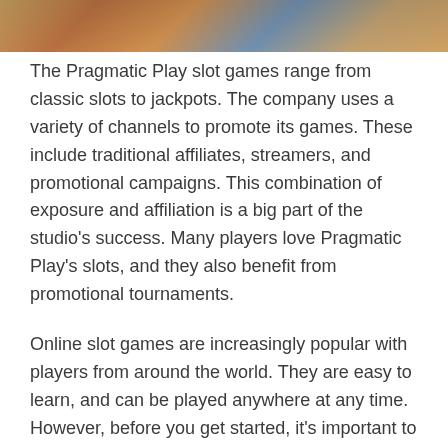[Figure (photo): Colorful horizontal image strip at the top of the page showing what appears to be a casino or gaming scene with warm orange and brown tones.]
The Pragmatic Play slot games range from classic slots to jackpots. The company uses a variety of channels to promote its games. These include traditional affiliates, streamers, and promotional campaigns. This combination of exposure and affiliation is a big part of the studio's success. Many players love Pragmatic Play's slots, and they also benefit from promotional tournaments.
Online slot games are increasingly popular with players from around the world. They are easy to learn, and can be played anywhere at any time. However, before you get started, it's important to know how to play slot games. You can practice playing in demo mode before you play for real money. It's always a good idea to get a sense of how slot machines work before investing time and money into them.
While traditional slot machines use a single payline, video slot games use a 5-line setup. This arrangement gives players